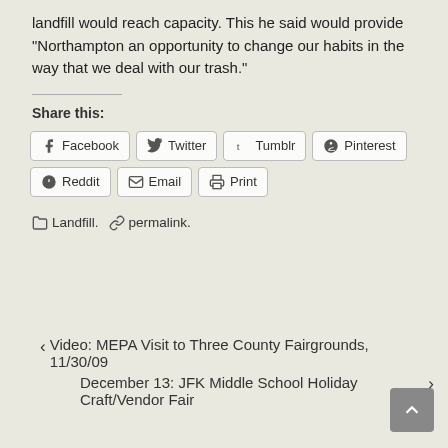landfill would reach capacity. This he said would provide “Northampton an opportunity to change our habits in the way that we deal with our trash.”
Share this:
Facebook  Twitter  Tumblr  Pinterest  Reddit  Email  Print
Landfill.  permalink.
❬ Video: MEPA Visit to Three County Fairgrounds, 11/30/09
December 13: JFK Middle School Holiday Craft/Vendor Fair ❭